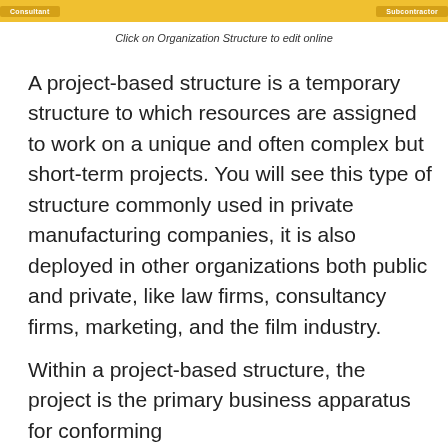[Figure (organizational-chart): Top portion of a project-based organizational chart showing yellow/gold header bars with labels 'Consultant' and 'Subcontractor']
Click on Organization Structure to edit online
A project-based structure is a temporary structure to which resources are assigned to work on a unique and often complex but short-term projects. You will see this type of structure commonly used in private manufacturing companies, it is also deployed in other organizations both public and private, like law firms, consultancy firms, marketing, and the film industry.
Within a project-based structure, the project is the primary business apparatus for conforming